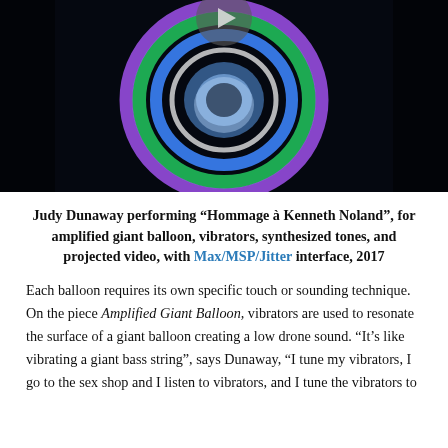[Figure (screenshot): Video thumbnail showing colorful glowing concentric rings (purple, blue, green) on a black background with a play button icon in the center.]
Judy Dunaway performing “Hommage à Kenneth Noland”, for amplified giant balloon, vibrators, synthesized tones, and projected video, with Max/MSP/Jitter interface, 2017
Each balloon requires its own specific touch or sounding technique. On the piece Amplified Giant Balloon, vibrators are used to resonate the surface of a giant balloon creating a low drone sound. “It’s like vibrating a giant bass string”, says Dunaway, “I tune my vibrators, I go to the sex shop and I listen to vibrators, and I tune the vibrators to